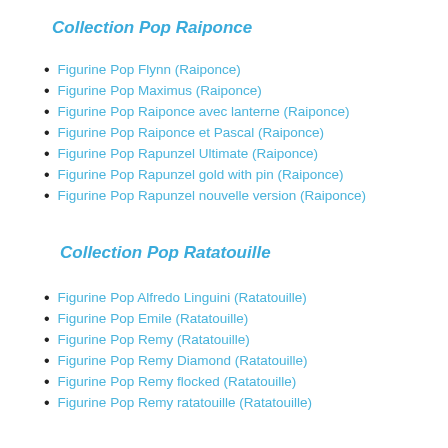Collection Pop Raiponce
Figurine Pop Flynn (Raiponce)
Figurine Pop Maximus (Raiponce)
Figurine Pop Raiponce avec lanterne (Raiponce)
Figurine Pop Raiponce et Pascal (Raiponce)
Figurine Pop Rapunzel Ultimate (Raiponce)
Figurine Pop Rapunzel gold with pin (Raiponce)
Figurine Pop Rapunzel nouvelle version (Raiponce)
Collection Pop Ratatouille
Figurine Pop Alfredo Linguini (Ratatouille)
Figurine Pop Emile (Ratatouille)
Figurine Pop Remy (Ratatouille)
Figurine Pop Remy Diamond (Ratatouille)
Figurine Pop Remy flocked (Ratatouille)
Figurine Pop Remy ratatouille (Ratatouille)